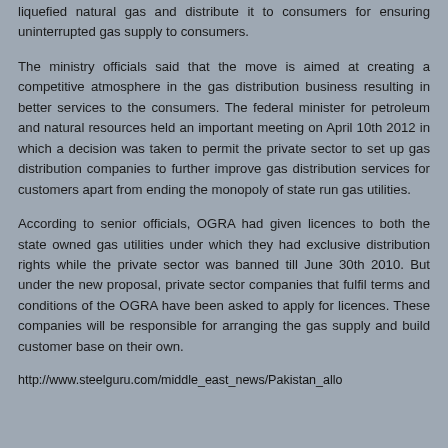liquefied natural gas and distribute it to consumers for ensuring uninterrupted gas supply to consumers.
The ministry officials said that the move is aimed at creating a competitive atmosphere in the gas distribution business resulting in better services to the consumers. The federal minister for petroleum and natural resources held an important meeting on April 10th 2012 in which a decision was taken to permit the private sector to set up gas distribution companies to further improve gas distribution services for customers apart from ending the monopoly of state run gas utilities.
According to senior officials, OGRA had given licences to both the state owned gas utilities under which they had exclusive distribution rights while the private sector was banned till June 30th 2010. But under the new proposal, private sector companies that fulfil terms and conditions of the OGRA have been asked to apply for licences. These companies will be responsible for arranging the gas supply and build customer base on their own.
http://www.steelguru.com/middle_east_news/Pakistan_allo